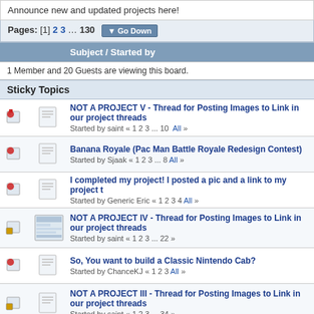Announce new and updated projects here!
Pages: [1] 2 3 ... 130  Go Down
Subject / Started by
1 Member and 20 Guests are viewing this board.
Sticky Topics
NOT A PROJECT V - Thread for Posting Images to Link in our project threads
Started by saint « 1 2 3 ... 10 All »
Banana Royale (Pac Man Battle Royale Redesign Contest)
Started by Sjaak « 1 2 3 ... 8 All »
I completed my project! I posted a pic and a link to my project t
Started by Generic Eric « 1 2 3 4 All »
NOT A PROJECT IV - Thread for Posting Images to Link in our project threads
Started by saint « 1 2 3 ... 22 »
So, You want to build a Classic Nintendo Cab?
Started by ChanceKJ « 1 2 3 All »
NOT A PROJECT III - Thread for Posting Images to Link in our project threads
Started by saint « 1 2 3 ... 34 »